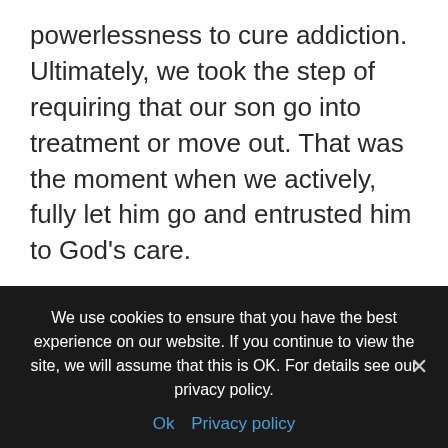powerlessness to cure addiction. Ultimately, we took the step of requiring that our son go into treatment or move out. That was the moment when we actively, fully let him go and entrusted him to God's care.
A friend who was praying for us told me in the midst of our darkest days that she sensed that God was inviting me to rest. Rest! The word startled me. It seemed so bizarre in my circumstances. And yet I could feel the difference it would make. I could
We use cookies to ensure that you have the best experience on our website. If you continue to view the site, we will assume that this is OK. For details see our privacy policy.
Ok  Privacy policy